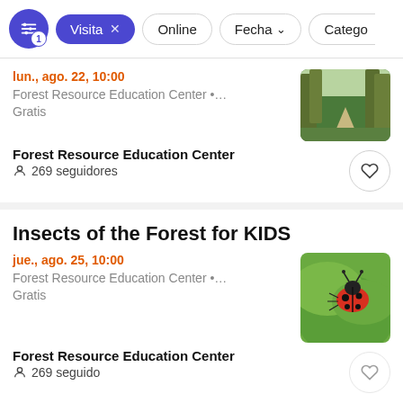Visita x | Online | Fecha | Catego
lun., ago. 22, 10:00
Forest Resource Education Center •…
Gratis
[Figure (photo): Forest path with trees]
Forest Resource Education Center
269 seguidores
Insects of the Forest for KIDS
jue., ago. 25, 10:00
Forest Resource Education Center •…
Gratis
[Figure (photo): Ladybug on green leaf]
Forest Resource Education Center
269 seguidores